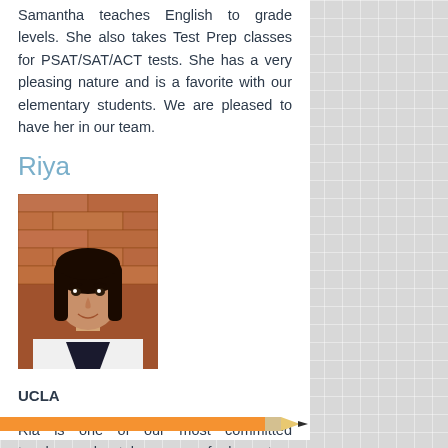Samantha teaches English to grade levels. She also takes Test Prep classes for PSAT/SAT/ACT tests. She has a very pleasing nature and is a favorite with our elementary students. We are pleased to have her in our team.
Riya
[Figure (photo): Portrait photo of Riya, a young woman with dark hair wearing a white coat, standing in front of a brick wall]
UCLA
Ria is one of our most committed teachers. she takes care of elementary grades